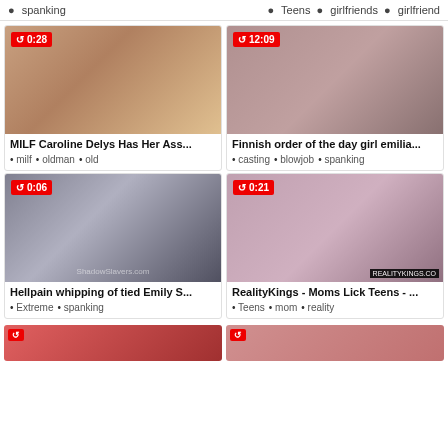• spanking
• Teens • girlfriends • girlfriend
[Figure (photo): Video thumbnail showing two people, timer badge 0:28]
MILF Caroline Delys Has Her Ass...
• milf • oldman • old
[Figure (photo): Video thumbnail, timer badge 12:09]
Finnish order of the day girl emilia...
• casting • blowjob • spanking
[Figure (photo): Video thumbnail showing restrained person, timer badge 0:06]
Hellpain whipping of tied Emily S...
• Extreme • spanking
[Figure (photo): Video thumbnail showing two women, timer badge 0:21]
RealityKings - Moms Lick Teens - ...
• Teens • mom • reality